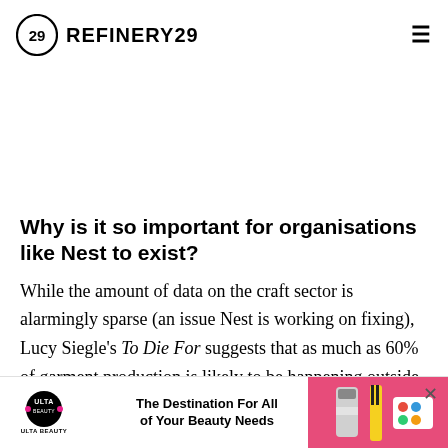REFINERY29
Why is it so important for organisations like Nest to exist?
While the amount of data on the craft sector is alarmingly sparse (an issue Nest is working on fixing), Lucy Siegle's To Die For suggests that as much as 60% of garment production is likely to be happening outside of regulated factori... workfc... rally
[Figure (other): Ulta Beauty advertisement banner: 'The Destination For All of Your Beauty Needs' with product image on right side]